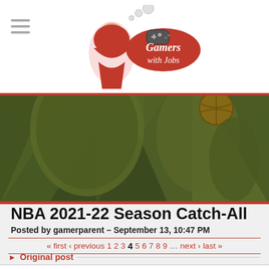Gamers with Jobs
[Figure (photo): Basketball players in a stylized green and gold toned banner image]
NBA 2021-22 Season Catch-All
Posted by gamerparent – September 13, 10:47 PM
« first ‹ previous 1 2 3 4 5 6 7 8 9 … next › last »
▶ Original post
Stele
TIE Required
Posted: November 11, 2:33 AM